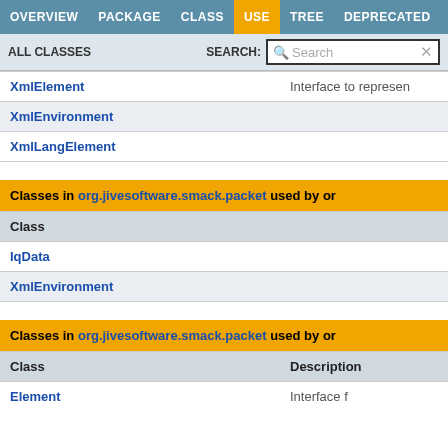OVERVIEW  PACKAGE  CLASS  USE  TREE  DEPRECATED
ALL CLASSES   SEARCH:  Search
| Class | Description |
| --- | --- |
| XmlElement | Interface to represen... |
| XmlEnvironment |  |
| XmlLangElement |  |
Classes in org.jivesoftware.smack.packet used by or...
| Class |
| --- |
| IqData |
| XmlEnvironment |
Classes in org.jivesoftware.smack.packet used by or...
| Class | Description |
| --- | --- |
| Element | Interface... |